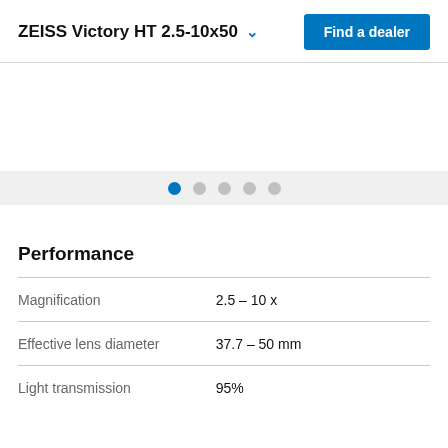ZEISS Victory HT 2.5-10x50
[Figure (other): Product image area (blank/empty image carousel placeholder)]
Performance
| Property | Value |
| --- | --- |
| Magnification | 2.5 – 10 x |
| Effective lens diameter | 37.7 – 50 mm |
| Light transmission | 95% |